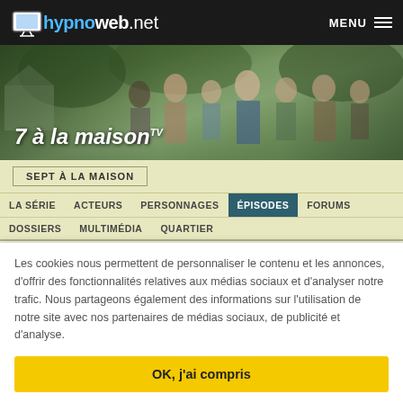hypnoweb.net  MENU
[Figure (photo): Banner photo of the show '7 à la maison' (7th Heaven) showing a family group outdoors with trees in the background, overlaid with the show title text '7 à la maison']
SEPT À LA MAISON
LA SÉRIE  ACTEURS  PERSONNAGES  ÉPISODES  FORUMS  DOSSIERS  MULTIMÉDIA  QUARTIER
ÉPISODE AU MENU, CE SOIR S11E02 - 7TH HEAVEN SAISON 11
Comment as-tu trouvé l'épisode S11E02 ? Échange avec les fans
Les cookies nous permettent de personnaliser le contenu et les annonces, d'offrir des fonctionnalités relatives aux médias sociaux et d'analyser notre trafic. Nous partageons également des informations sur l'utilisation de notre site avec nos partenaires de médias sociaux, de publicité et d'analyse.
OK, j'ai compris